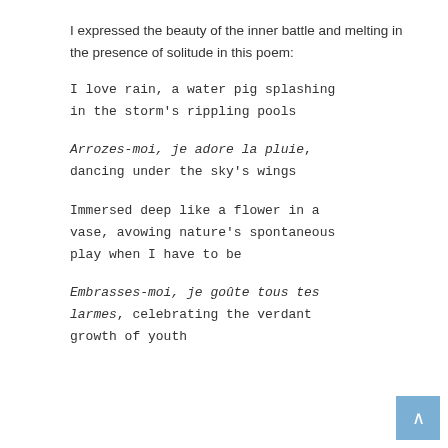I expressed the beauty of the inner battle and melting in the presence of solitude in this poem:
I love rain, a water pig splashing in the storm's rippling pools
Arrozes-moi, je adore la pluie, dancing under the sky's wings
Immersed deep like a flower in a vase, avowing nature's spontaneous play when I have to be
Embrasses-moi, je goûte tous tes larmes, celebrating the verdant growth of youth